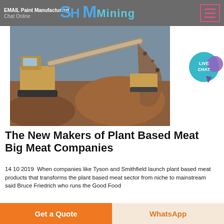EMAIL Paint Manufacturing  Chat Online  SH MMining
[Figure (photo): Construction/mining scene with a crawler excavator and conveyor belt moving rock/ore material at a mining site. Red/brown soil and rubble visible.]
[Figure (infographic): Live Chat speech bubble icon in teal/cyan color with white text reading LIVE CHAT]
The New Makers of Plant Based Meat Big Meat Companies
14 10 2019  When companies like Tyson and Smithfield launch plant based meat products that transforms the plant based meat sector from niche to mainstream said Bruce Friedrich who runs the Good Food
Chat Online
Get a Quote  WhatsApp